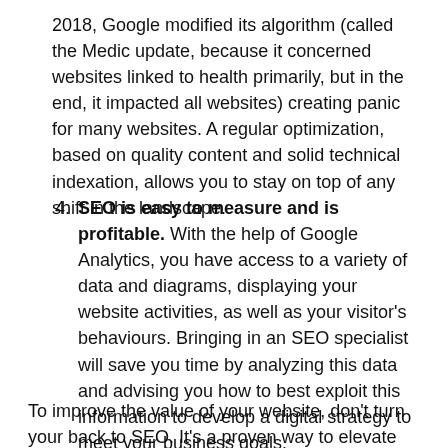2018, Google modified its algorithm (called the Medic update, because it concerned websites linked to health primarily, but in the end, it impacted all websites) creating panic for many websites. A regular optimization, based on quality content and solid technical indexation, allows you to stay on top of any shift in the landscape.
4. SEO is easy to measure and is profitable. With the help of Google Analytics, you have access to a variety of data and diagrams, displaying your website activities, as well as your visitor's behaviours. Bringing in an SEO specialist will save you time by analyzing this data and advising you how to best exploit this information to develop a digital strategy to meet your business goals.
To improve the value of your website, don't turn your back to SEO. It's a proven way to elevate your brand, expand your